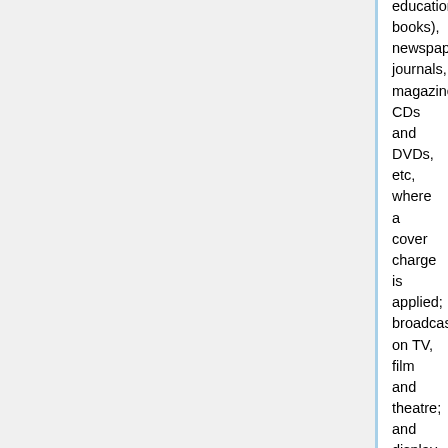educational books), newspapers, journals, magazines, CDs and DVDs, etc, where a cover charge is applied; broadcasts on TV, film and theatre; and display in trade fairs, galleries, etc. If you are in doubt as to whether your intended use is commercial, please contact enquiries@bgs.ac.uk
Warranty
Use of the images downloaded from this site is at the users own risk. UKRI gives no warranty as to the quality of the images or the medium on which they are provided or their suitability for any use.
Ordnance Survey topography
Maps and diagrams in Earthwise use topography based on Ordnance Survey